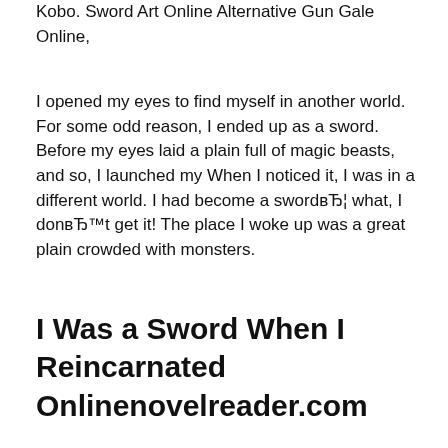Kobo. Sword Art Online Alternative Gun Gale Online,
I opened my eyes to find myself in another world. For some odd reason, I ended up as a sword. Before my eyes laid a plain full of magic beasts, and so, I launched my When I noticed it, I was in a different world. I had become a swordвЂ¦ what, I donвЂ™t get it! The place I woke up was a great plain crowded with monsters.
I Was a Sword When I Reincarnated Onlinenovelreader.com